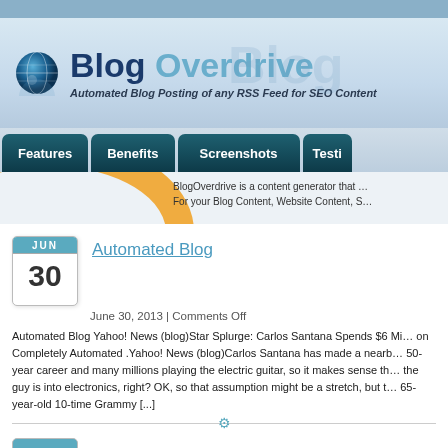Blog Overdrive — Automated Blog Posting of any RSS Feed for SEO Content
[Figure (screenshot): Blog Overdrive logo with spinning globe icon]
Features | Benefits | Screenshots | Testi...
BlogOverdrive is a content generator that ... For your Blog Content, Website Content, S...
Automated Blog
June 30, 2013 | Comments Off
Automated Blog Yahoo! News (blog)Star Splurge: Carlos Santana Spends $6 Mi... on Completely Automated .Yahoo! News (blog)Carlos Santana has made a nearb... 50-year career and many millions playing the electric guitar, so it makes sense th... the guy is into electronics, right? OK, so that assumption might be a stretch, but t... 65-year-old 10-time Grammy [...]